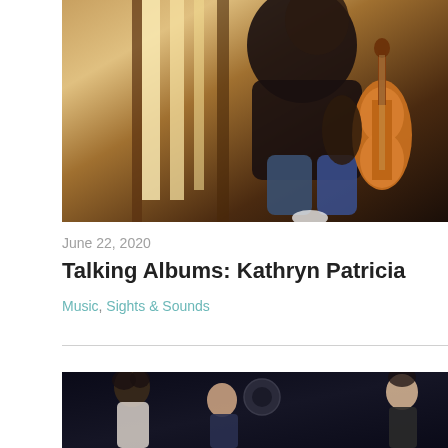[Figure (photo): Woman sitting on a windowsill holding a violin, warm natural light from behind, wearing dark top and blue jeans]
June 22, 2020
Talking Albums: Kathryn Patricia
Music, Sights & Sounds
[Figure (photo): Group of singers or performers in a dark studio or stage setting, looking upward]